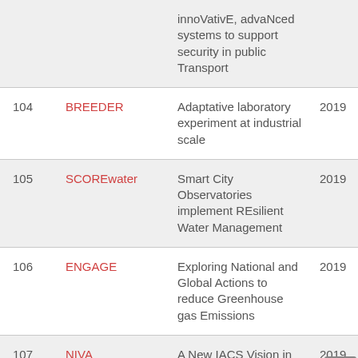| # | Name | Description | Year |
| --- | --- | --- | --- |
|  |  | innoVativE, advaNced systems to support security in public Transport |  |
| 104 | BREEDER | Adaptative laboratory experiment at industrial scale | 2019 |
| 105 | SCOREwater | Smart City Observatories implement REsilient Water Management | 2019 |
| 106 | ENGAGE | Exploring National and Global Actions to reduce Greenhouse gas Emissions | 2019 |
| 107 | NIVA | A New IACS Vision in Action | 2019 |